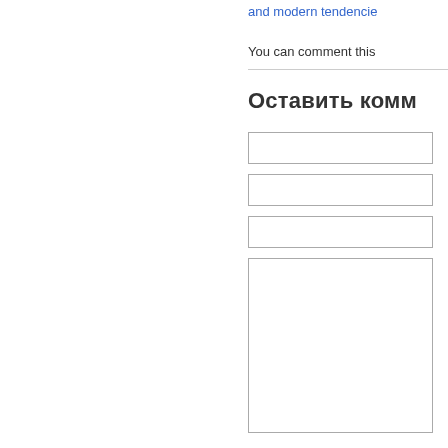and modern tendencie...
You can comment this
Оставить комм
[Figure (other): Web form with three single-line text input fields and one large textarea input field]